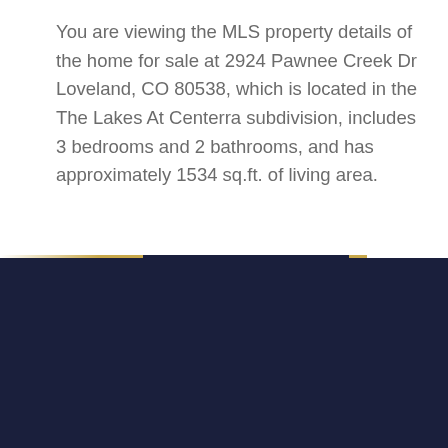You are viewing the MLS property details of the home for sale at 2924 Pawnee Creek Dr Loveland, CO 80538, which is located in the The Lakes At Centerra subdivision, includes 3 bedrooms and 2 bathrooms, and has approximately 1534 sq.ft. of living area.
CONTACT
Kinkade Team at Brokers Guild